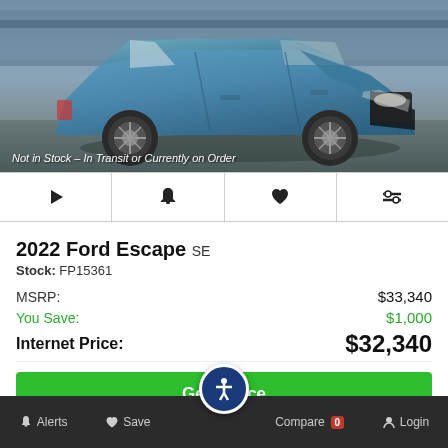[Figure (photo): Blue 2022 Ford Escape SUV photographed at an angle in a parking area]
Not in Stock – In Transit or Currently on Order
[Figure (infographic): Icon action bar with play, bell, heart, and compare icons]
2022 Ford Escape SE
Stock: FP15361
MSRP: $33,340
You Save: $1,000
Internet Price: $32,340
Get ePrice
Alerts  Save  Compare 0  Login